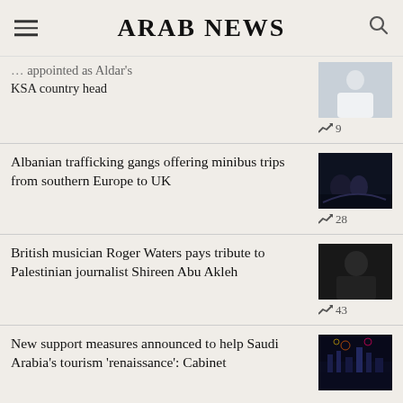ARAB NEWS
… country head appointed as Aldar's KSA country head
9
Albanian trafficking gangs offering minibus trips from southern Europe to UK
28
British musician Roger Waters pays tribute to Palestinian journalist Shireen Abu Akleh
43
New support measures announced to help Saudi Arabia's tourism 'renaissance': Cabinet